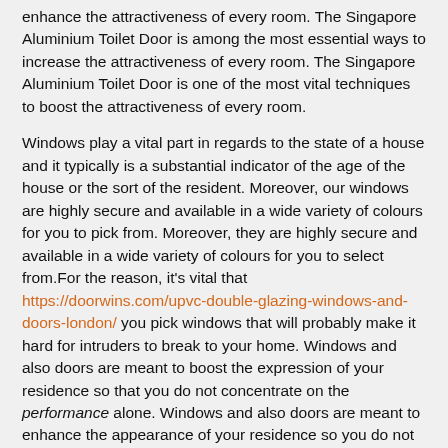enhance the attractiveness of every room. The Singapore Aluminium Toilet Door is among the most essential ways to increase the attractiveness of every room. The Singapore Aluminium Toilet Door is one of the most vital techniques to boost the attractiveness of every room.
Windows play a vital part in regards to the state of a house and it typically is a substantial indicator of the age of the house or the sort of the resident. Moreover, our windows are highly secure and available in a wide variety of colours for you to pick from. Moreover, they are highly secure and available in a wide variety of colours for you to select from.For the reason, it's vital that https://doorwins.com/upvc-double-glazing-windows-and-doors-london/ you pick windows that will probably make it hard for intruders to break to your home. Windows and also doors are meant to boost the expression of your residence so that you do not concentrate on the performance alone. Windows and also doors are meant to enhance the appearance of your residence so you do not concentrate on the performance alone. Aluminium windows and doors incorporate a wide assortment of finishes to provide you with the ideal match for your decor.